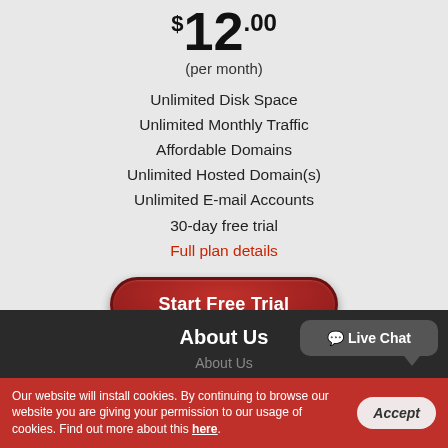$12.00
(per month)
Unlimited Disk Space
Unlimited Monthly Traffic
Affordable Domains
Unlimited Hosted Domain(s)
Unlimited E-mail Accounts
30-day free trial
Full plan details
Start Free Trial
About Us
About Us
Live Chat
Our website will install cookies. By continuing to browse our website you are giving your permission to our usage of cookies. Find out more about this here.
Accept